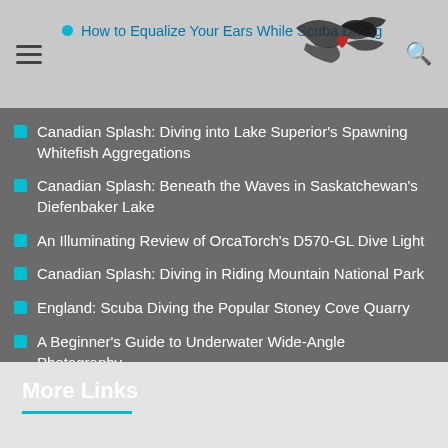How to Equalize Your Ears While Scuba Diving
Canadian Splash: Diving into Lake Superior's Spawning Whitefish Aggregations
Canadian Splash: Beneath the Waves in Saskatchewan's Diefenbaker Lake
An Illuminating Review of OrcaTorch's D570-GL Dive Light
Canadian Splash: Diving in Riding Mountain National Park
England: Scuba Diving the Popular Stoney Cove Quarry
A Beginner's Guide to Underwater Wide-Angle Photography
More Links